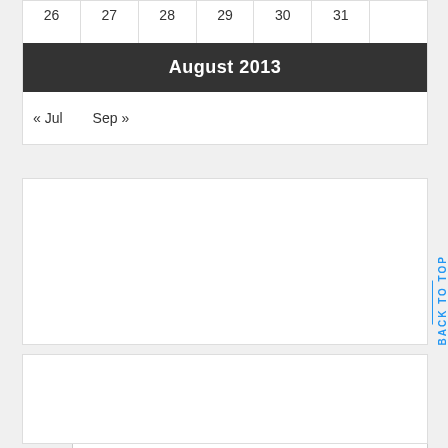| 26 | 27 | 28 | 29 | 30 | 31 |  |
| --- | --- | --- | --- | --- | --- | --- |
August 2013
« Jul   Sep »
[Figure (other): Empty advertisement or widget box with border]
BACK TO TOP